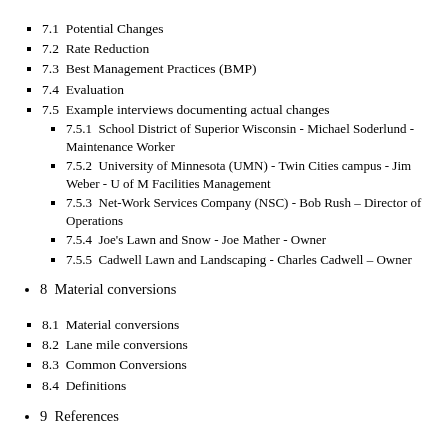7.1  Potential Changes
7.2  Rate Reduction
7.3  Best Management Practices (BMP)
7.4  Evaluation
7.5  Example interviews documenting actual changes
7.5.1  School District of Superior Wisconsin - Michael Soderlund - Maintenance Worker
7.5.2  University of Minnesota (UMN) - Twin Cities campus - Jim Weber - U of M Facilities Management
7.5.3  Net-Work Services Company (NSC) - Bob Rush – Director of Operations
7.5.4  Joe's Lawn and Snow - Joe Mather - Owner
7.5.5  Cadwell Lawn and Landscaping - Charles Cadwell – Owner
8  Material conversions
8.1  Material conversions
8.2  Lane mile conversions
8.3  Common Conversions
8.4  Definitions
9  References